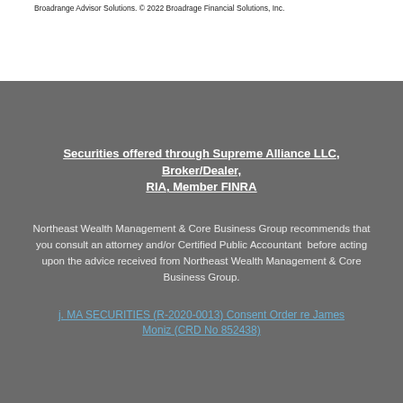Broadridge Advisor Solutions. © 2022 Broadridge Financial Solutions, Inc.
Securities offered through Supreme Alliance LLC, Broker/Dealer, RIA, Member FINRA
Northeast Wealth Management & Core Business Group recommends that you consult an attorney and/or Certified Public Accountant before acting upon the advice received from Northeast Wealth Management & Core Business Group.
j. MA SECURITIES (R-2020-0013) Consent Order re James Moniz (CRD No 852438)